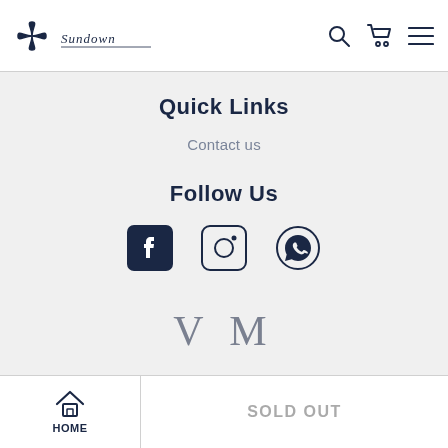Sundown [logo + signature] | Search | Cart | Menu
Quick Links
Contact us
Follow Us
[Figure (logo): Social media icons: Facebook, Instagram, WhatsApp]
[Figure (logo): V M logo in large serif gray letters]
[Figure (logo): Bank Transfer logo with horizontal lines]
HOME | SOLD OUT